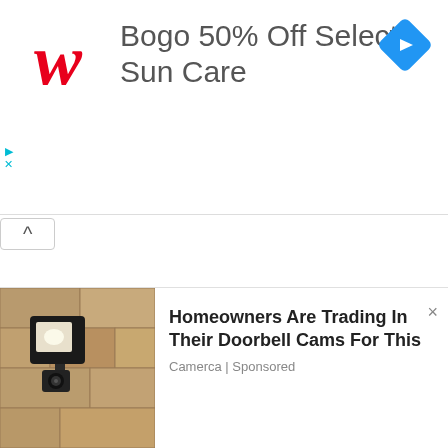[Figure (screenshot): Walgreens advertisement banner: Walgreens cursive W logo in red on the left, text 'Bogo 50% Off Select Sun Care' in gray, blue diamond navigation icon on the right. Ad controls (play triangle and X) on the far left. Collapse/chevron-up button below the banner.]
[Figure (screenshot): Bottom advertisement: Photo of an outdoor wall lamp/security camera on the left. Text on the right reads 'Homeowners Are Trading In Their Doorbell Cams For This' in bold, with 'Camerca | Sponsored' below in gray. X close button top right.]